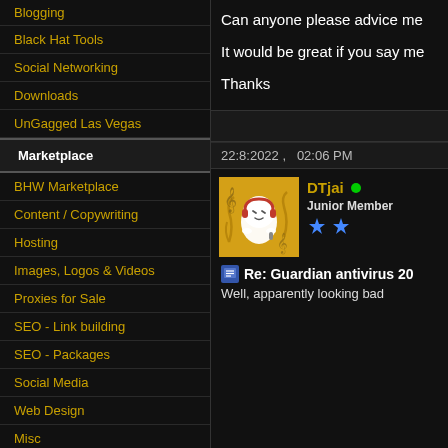Blogging
Black Hat Tools
Social Networking
Downloads
UnGagged Las Vegas
Marketplace
BHW Marketplace
Content / Copywriting
Hosting
Images, Logos & Videos
Proxies for Sale
SEO - Link building
SEO - Packages
Social Media
Web Design
Misc
Making Money
Affiliate Programs
Can anyone please advice me
It would be great if you say me
Thanks
22:8:2022 ,   02:06 PM
DTjai
Junior Member
Re: Guardian antivirus 20
Well, apparently looking bad